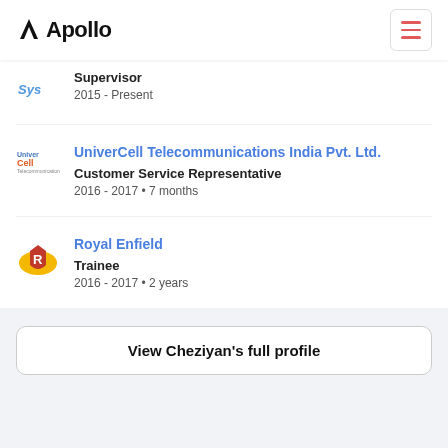Apollo
[Figure (logo): Apollo logo with A symbol]
Supervisor
2015 - Present
UniverCell Telecommunications India Pvt. Ltd.
Customer Service Representative
2016 - 2017 • 7 months
Royal Enfield
Trainee
2016 - 2017 • 2 years
View Cheziyan's full profile